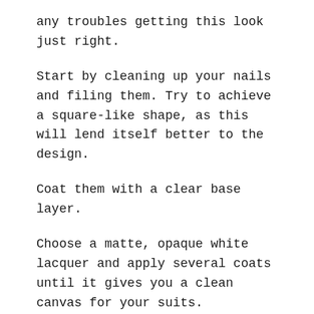any troubles getting this look just right.
Start by cleaning up your nails and filing them. Try to achieve a square-like shape, as this will lend itself better to the design.
Coat them with a clear base layer.
Choose a matte, opaque white lacquer and apply several coats until it gives you a clean canvas for your suits.
Next, take a fine brush (you don't need a professional nail brush, art or makeup brush can do just fine) and dip it into a black nail polish.
Draw two diagonal lines starting from the midpoints on the sides of your nails, so they